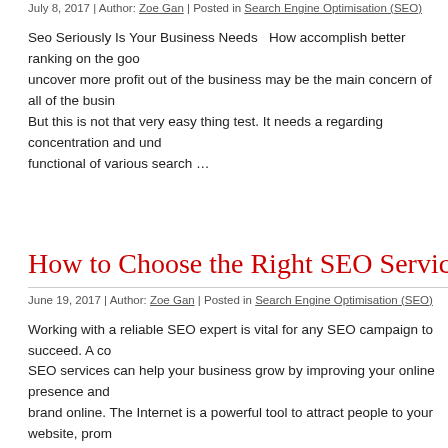July 8, 2017 | Author: Zoe Gan | Posted in Search Engine Optimisation (SEO)
Seo Seriously Is Your Business Needs   How accomplish better ranking on the go... uncover more profit out of the business may be the main concern of all of the busin... But this is not that very easy thing test. It needs a regarding concentration and und... functional of various search …
How to Choose the Right SEO Services Company
June 19, 2017 | Author: Zoe Gan | Posted in Search Engine Optimisation (SEO)
Working with a reliable SEO expert is vital for any SEO campaign to succeed. A co... SEO services can help your business grow by improving your online presence and... brand online. The Internet is a powerful tool to attract people to your website, prom... and services, and increase sales. Many …
Tags: seo service
Getting Visitors To Your Website
June 15, 2017 | Author: Zoe Gan | Posted in Search Engine Optimisation (SEO)